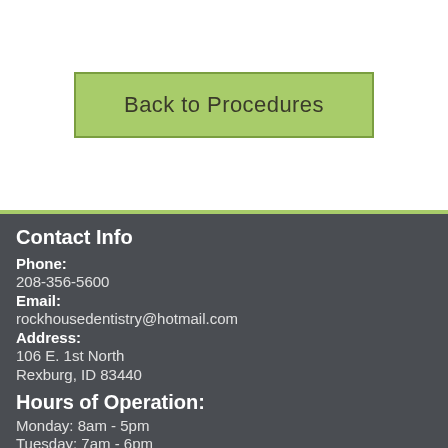Back to Procedures
Contact Info
Phone:
208-356-5600
Email:
rockhousedentistry@hotmail.com
Address:
106 E. 1st North
Rexburg, ID 83440
Hours of Operation:
Monday: 8am - 5pm
Tuesday:  7am - 6pm